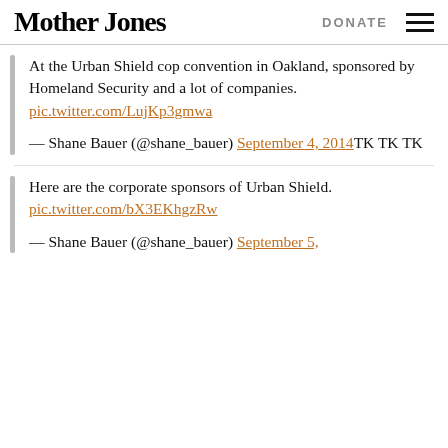Mother Jones | DONATE
At the Urban Shield cop convention in Oakland, sponsored by Homeland Security and a lot of companies. pic.twitter.com/LujKp3gmwa
— Shane Bauer (@shane_bauer) September 4, 2014TK TK TK
Here are the corporate sponsors of Urban Shield. pic.twitter.com/bX3EKhgzRw
— Shane Bauer (@shane_bauer) September 5,